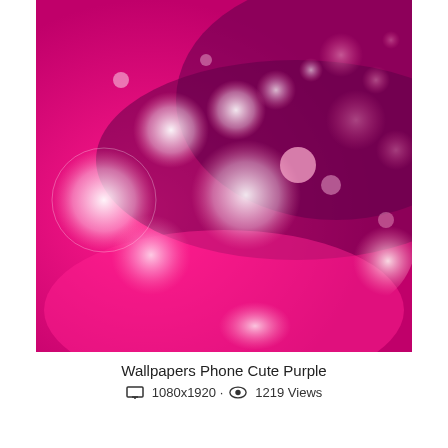[Figure (photo): Bokeh wallpaper with pink and magenta background, white and soft pink glowing circular light orbs scattered across the upper portion, with a deep pink-to-magenta gradient in the lower portion.]
Wallpapers Phone Cute Purple
1080x1920 · 1219 Views